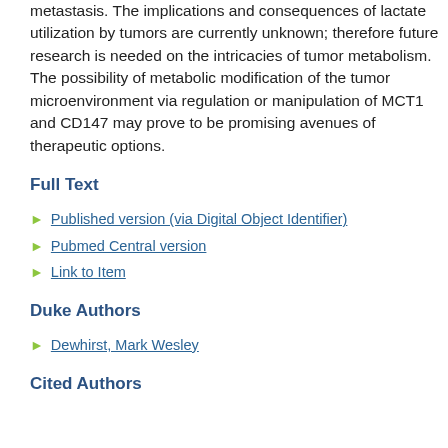metastasis. The implications and consequences of lactate utilization by tumors are currently unknown; therefore future research is needed on the intricacies of tumor metabolism. The possibility of metabolic modification of the tumor microenvironment via regulation or manipulation of MCT1 and CD147 may prove to be promising avenues of therapeutic options.
Full Text
Published version (via Digital Object Identifier)
Pubmed Central version
Link to Item
Duke Authors
Dewhirst, Mark Wesley
Cited Authors